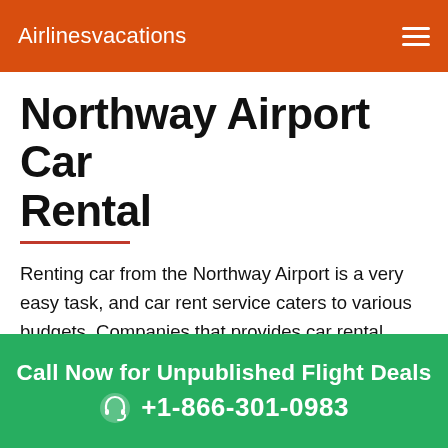Airlinesvacations
Northway Airport Car Rental
Renting car from the Northway Airport is a very easy task, and car rent service caters to various budgets. Companies that provides car rental services include Alamo, Enterprise, National, Dollar, SIXT, Thrifty, Hertz and Budget. Travelers can rent a standard car for $16-30 per day and a minivan for $50-$500 per day. You can avail this service from around 6 car
Call Now for Unpublished Flight Deals
+1-866-301-0983